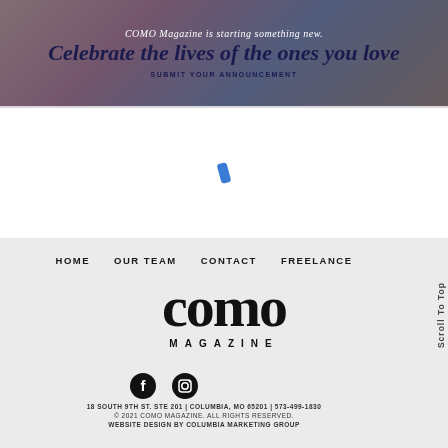[Figure (photo): Banner image with muted warm background showing people celebrating, overlaid with dark navy tint]
COMO Magazine is starting something new.
Celebrate the lives of the ones you love
SUBMIT YOUR ANNOUNCEMENT
[Figure (other): Loading spinner icon, small blue tilted dash in center of white area]
HOME
OUR TEAM
CONTACT
FREELANCE
[Figure (logo): COMO MAGAZINE logo in large bold serif font, black on light gray background]
[Figure (other): Social media icons: Facebook (f) and Instagram (camera) in black circles]
18 SOUTH 9TH ST. STE 201 | COLUMBIA, MO 65201 | 573-499-1830
© 2021 COMO MAGAZINE. ALL RIGHTS RESERVED.
WEBSITE DESIGN BY COLUMBIA MARKETING GROUP
Scroll To Top